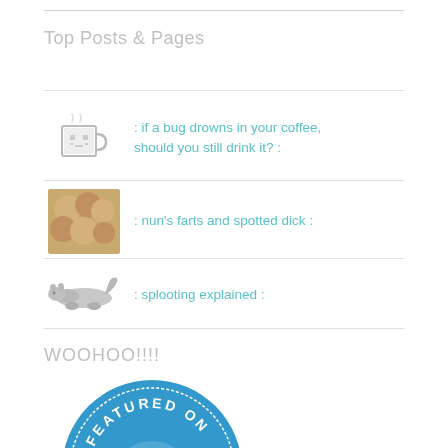Top Posts & Pages
: if a bug drowns in your coffee, should you still drink it? :
: nun's farts and spotted dick :
: splooting explained :
WOOHOO!!!!
[Figure (logo): WordPress Featured On badge - blue circular badge with WordPress W logo and text FEATURED ON]